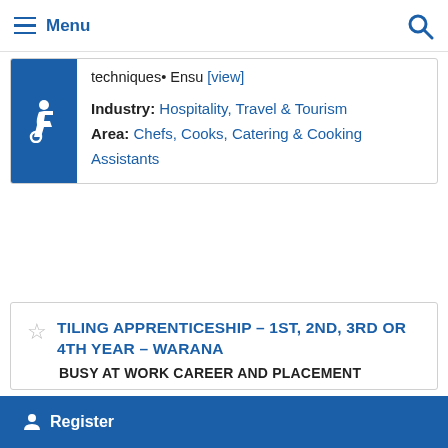Menu
techniques• Ensu [view]
Industry: Hospitality, Travel & Tourism
Area: Chefs, Cooks, Catering & Cooking Assistants
TILING APPRENTICESHIP – 1ST, 2ND, 3RD OR 4TH YEAR – WARANA
BUSY AT WORK CAREER AND PLACEMENT
We are seeking tiling apprentices for a Sunshine Coast based employer who has specialised in waterfront properties but in recent years also
Register